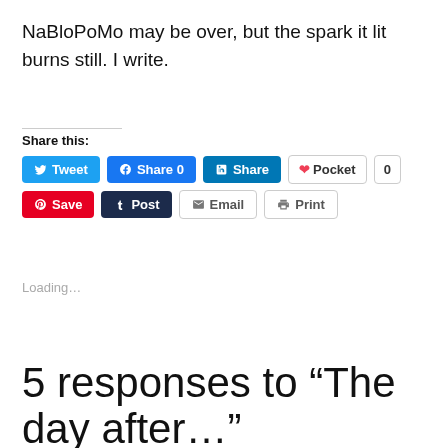NaBloPoMo may be over, but the spark it lit burns still. I write.
Share this:
Tweet | Share 0 | Share | Pocket 0 | Save | Post | Email | Print
Loading...
5 responses to “The day after…”